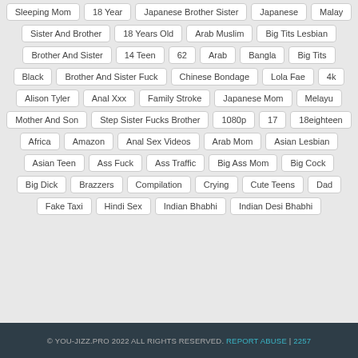Sleeping Mom
18 Year
Japanese Brother Sister
Japanese
Malay
Sister And Brother
18 Years Old
Arab Muslim
Big Tits Lesbian
Brother And Sister
14 Teen
62
Arab
Bangla
Big Tits
Black
Brother And Sister Fuck
Chinese Bondage
Lola Fae
4k
Alison Tyler
Anal Xxx
Family Stroke
Japanese Mom
Melayu
Mother And Son
Step Sister Fucks Brother
1080p
17
18eighteen
Africa
Amazon
Anal Sex Videos
Arab Mom
Asian Lesbian
Asian Teen
Ass Fuck
Ass Traffic
Big Ass Mom
Big Cock
Big Dick
Brazzers
Compilation
Crying
Cute Teens
Dad
Fake Taxi
Hindi Sex
Indian Bhabhi
Indian Desi Bhabhi
© YOU-JIZZ.PRO 2022 ALL RIGHTS RESERVED. REPORT ABUSE | 2257